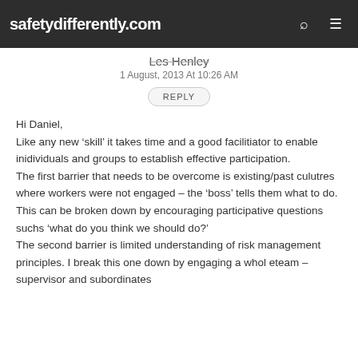safetydifferently.com
Les Henley
1 August, 2013 At 10:26 AM
REPLY
Hi Daniel,
Like any new ‘skill’ it takes time and a good facilitiator to enable inidividuals and groups to establish effective participation.
The first barrier that needs to be overcome is existing/past culutres where workers were not engaged – the ‘boss’ tells them what to do.
This can be broken down by encouraging participative questions suchs ‘what do you think we should do?’
The second barrier is limited understanding of risk management principles. I break this one down by engaging a whol eteam – supervisor and subordinates